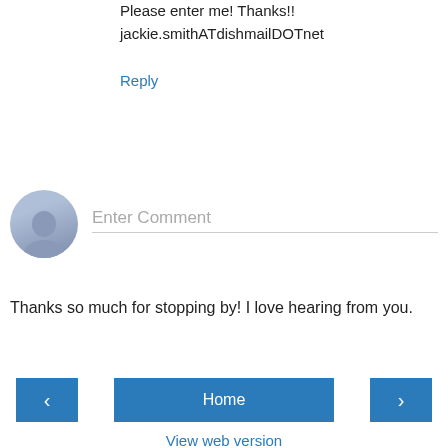Please enter me! Thanks!!
jackie.smithATdishmailDOTnet
Reply
[Figure (other): Comment input box with user avatar placeholder circle and 'Enter Comment' placeholder text]
Thanks so much for stopping by! I love hearing from you.
[Figure (other): Navigation bar with left arrow button, Home button, and right arrow button]
View web version
[Figure (photo): Author photo of Patty Wysong, a woman with curly hair and glasses wearing a pink top]
Patty Wysong
Since Patty quit running from God's call on her life and surrendered her pen to Him, she's been happy. Life is never dull as she juggles being a wife, mom to a handful of kids and a couple of Capuchin monkeys, life on the road, and being a writer. As long as she's obeying God's leading,